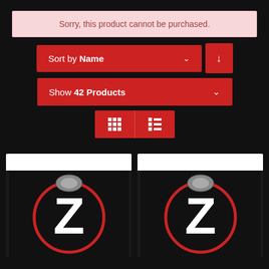Sorry, this product cannot be purchased.
Sort by Name
Show 42 Products
[Figure (screenshot): View toggle buttons: grid view and list view icons on red background]
[Figure (screenshot): Two product cards side by side, each showing a stylized 'Z' logo on dark background with white strip at top]